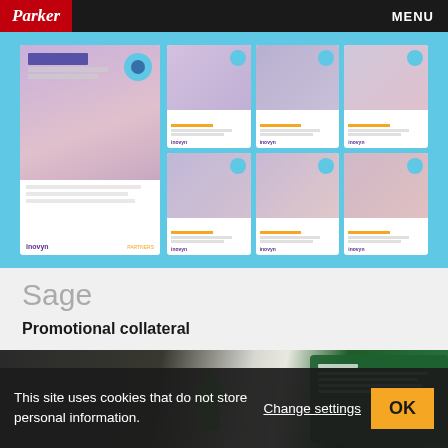Parker | MENU
[Figure (screenshot): Inovyn promotional materials displayed on a light blue background — showing multiple white cards with purple/violet tinted images and orange accent bars, including a main larger card with 'Trasparenza e onesta' heading and Inovyn logo]
Sage
Promotional collateral
[Figure (photo): Sage promotional collateral — dark background with a green folded card showing a green upward arrow, partially visible]
This site uses cookies that do not store personal information. Change settings OK